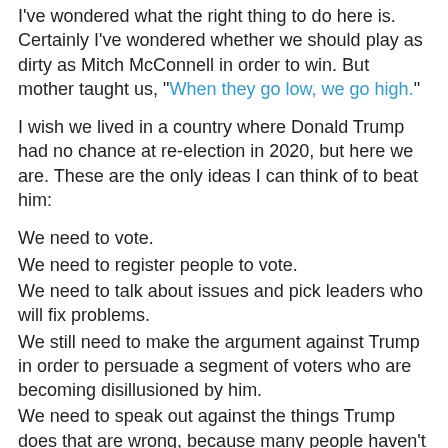I've wondered what the right thing to do here is. Certainly I've wondered whether we should play as dirty as Mitch McConnell in order to win. But mother taught us, "When they go low, we go high."
I wish we lived in a country where Donald Trump had no chance at re-election in 2020, but here we are. These are the only ideas I can think of to beat him:
We need to vote.
We need to register people to vote.
We need to talk about issues and pick leaders who will fix problems.
We still need to make the argument against Trump in order to persuade a segment of voters who are becoming disillusioned by him.
We need to speak out against the things Trump does that are wrong, because many people haven't heard about all of it.
"Do we participate in a politics of cynicism or in a politics of hope? In the end, that is God's greatest